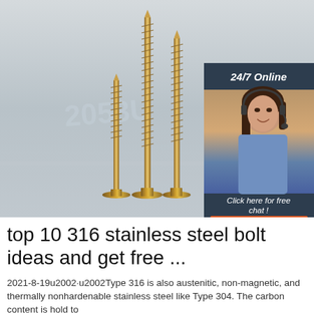[Figure (photo): Three gold/brass-colored wood screws of different heights standing upright against a light gray background, with a 24/7 Online customer service advertisement panel on the right showing a woman with a headset and a QUOTATION button.]
top 10 316 stainless steel bolt ideas and get free ...
2021-8-19u2002·u2002Type 316 is also austenitic, non-magnetic, and thermally nonhardenable stainless steel like Type 304. The carbon content is hold to